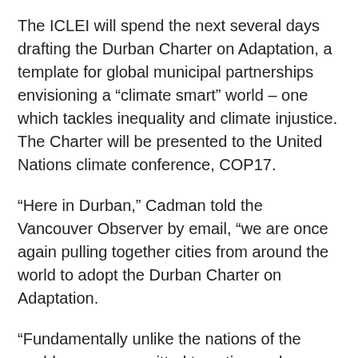The ICLEI will spend the next several days drafting the Durban Charter on Adaptation, a template for global municipal partnerships envisioning a “climate smart” world – one which tackles inequality and climate injustice. The Charter will be presented to the United Nations climate conference, COP17.
“Here in Durban,” Cadman told the Vancouver Observer by email, “we are once again pulling together cities from around the world to adopt the Durban Charter on Adaptation.
“Fundamentally unlike the nations of the world we are committed to action and a future for humankind. While the nations of the world like Nero fiddle while the planet burns, cities and millions of their citizens are doing the right thing and urging the nations of the world to come off this precipice that big oil gas and coal have taken us